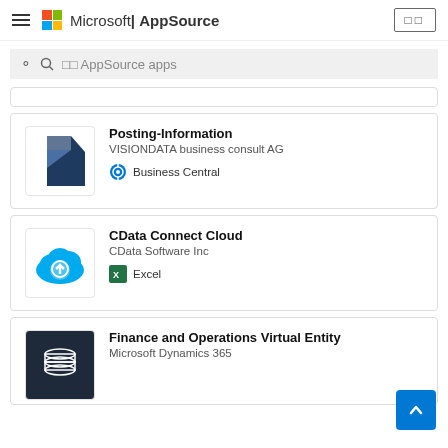Microsoft | AppSource
□□ AppSource apps
Posting-Information
VISIONDATA business consult AG
Business Central
CData Connect Cloud
CData Software Inc
Excel
Finance and Operations Virtual Entity
Microsoft Dynamics 365